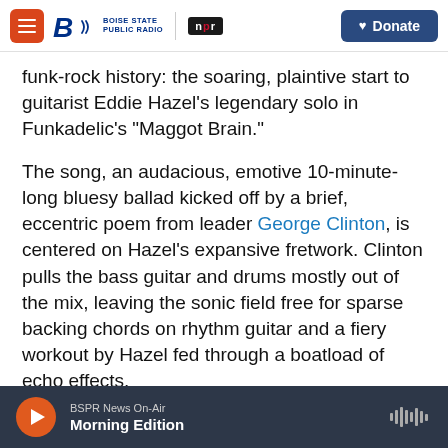Boise State Public Radio | NPR | Donate
funk-rock history: the soaring, plaintive start to guitarist Eddie Hazel's legendary solo in Funkadelic's "Maggot Brain."
The song, an audacious, emotive 10-minute-long bluesy ballad kicked off by a brief, eccentric poem from leader George Clinton, is centered on Hazel's expansive fretwork. Clinton pulls the bass guitar and drums mostly out of the mix, leaving the sonic field free for sparse backing chords on rhythm guitar and a fiery workout by Hazel fed through a boatload of echo effects.
BSPR News On-Air — Morning Edition